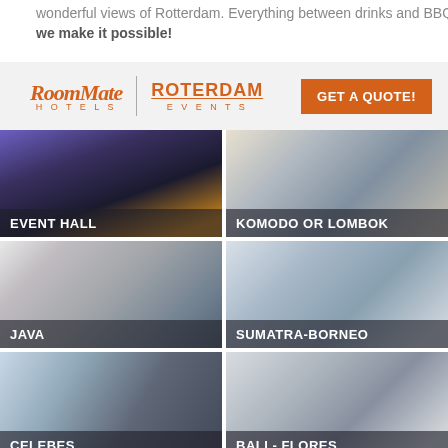wonderful views of Rotterdam. Everything between drinks and BBQ; we make it possible!
[Figure (photo): RoomMate Hotels and Rotterdam Events logo with GET A QUOTE! button]
[Figure (photo): Event Hall room photo with dark flooring and lighting]
[Figure (photo): Komodo or Lombok conference room with chairs and tables]
[Figure (photo): Java meeting room with chairs and decorative wall]
[Figure (photo): Sumatra-Borneo bright conference room with city view]
[Figure (photo): Celebes meeting room with long table and city view]
[Figure (photo): Bali - Flores seminar room with rows of blue chairs]
[Figure (photo): Partial bottom image of another room]